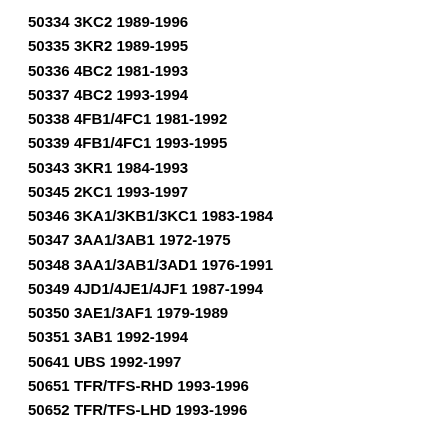50334 3KC2 1989-1996
50335 3KR2 1989-1995
50336 4BC2 1981-1993
50337 4BC2 1993-1994
50338 4FB1/4FC1 1981-1992
50339 4FB1/4FC1 1993-1995
50343 3KR1 1984-1993
50345 2KC1 1993-1997
50346 3KA1/3KB1/3KC1 1983-1984
50347 3AA1/3AB1 1972-1975
50348 3AA1/3AB1/3AD1 1976-1991
50349 4JD1/4JE1/4JF1 1987-1994
50350 3AE1/3AF1 1979-1989
50351 3AB1 1992-1994
50641 UBS 1992-1997
50651 TFR/TFS-RHD 1993-1996
50652 TFR/TFS-LHD 1993-1996